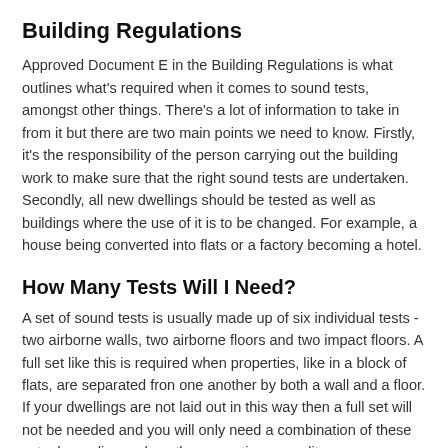Building Regulations
Approved Document E in the Building Regulations is what outlines what's required when it comes to sound tests, amongst other things. There's a lot of information to take in from it but there are two main points we need to know. Firstly, it's the responsibility of the person carrying out the building work to make sure that the right sound tests are undertaken. Secondly, all new dwellings should be tested as well as buildings where the use of it is to be changed. For example, a house being converted into flats or a factory becoming a hotel.
How Many Tests Will I Need?
A set of sound tests is usually made up of six individual tests - two airborne walls, two airborne floors and two impact floors. A full set like this is required when properties, like in a block of flats, are separated fron one another by both a wall and a floor. If your dwellings are not laid out in this way then a full set will not be needed and you will only need a combination of these sets depending on how the properties are split.
Document E of Building Regulations describes how at least one test should be undertaken for every ten properties in a group. Where confusion can occur is what is meant by the term 'group' as it may not necessarily mean ten percent of all buildings.
A group relates to the type of property you'll be testing. So flats, for example, are one group and houses are another. If you have ten properties but six are houses and four are flats then you will need to test one from each group - not one from the overall pack as it may first